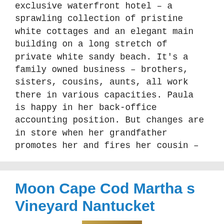exclusive waterfront hotel – a sprawling collection of pristine white cottages and an elegant main building on a long stretch of private white sandy beach. It's a family owned business – brothers, sisters, cousins, aunts, all work there in various capacities. Paula is happy in her back-office accounting position. But changes are in store when her grandfather promotes her and fires her cousin –
Moon Cape Cod Martha s Vineyard Nantucket
[Figure (photo): Partial view of the Moon Cape Cod Martha's Vineyard Nantucket book cover, showing the bottom portion with 'MOON' text visible on a golden/warm-toned background.]